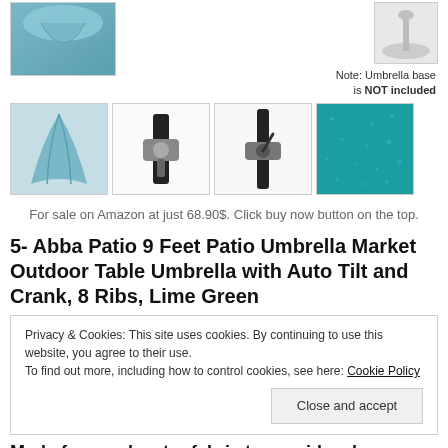[Figure (photo): Top row: partial view of teal patio umbrella on left, umbrella base image on right with note text]
Note: Umbrella base is NOT included
[Figure (photo): Four thumbnail product images: folded teal umbrella fabric, umbrella crank mechanism close-up, umbrella tilt mechanism close-up, teal fabric texture close-up]
For sale on Amazon at just 68.90$. Click buy now button on the top.
5- Abba Patio 9 Feet Patio Umbrella Market Outdoor Table Umbrella with Auto Tilt and Crank, 8 Ribs, Lime Green
Privacy & Cookies: This site uses cookies. By continuing to use this website, you agree to their use.
To find out more, including how to control cookies, see here: Cookie Policy
Close and accept
Made from polyester fabric to provide a long lasting